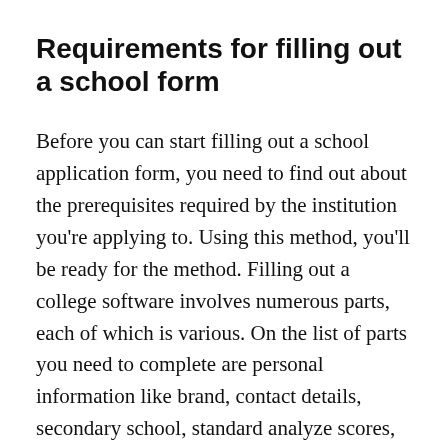Requirements for filling out a school form
Before you can start filling out a school application form, you need to find out about the prerequisites required by the institution you're applying to. Using this method, you'll be ready for the method. Filling out a college software involves numerous parts, each of which is various. On the list of parts you need to complete are personal information like brand, contact details, secondary school, standard analyze scores, citizenship position, and extracurricular actions, such as summer